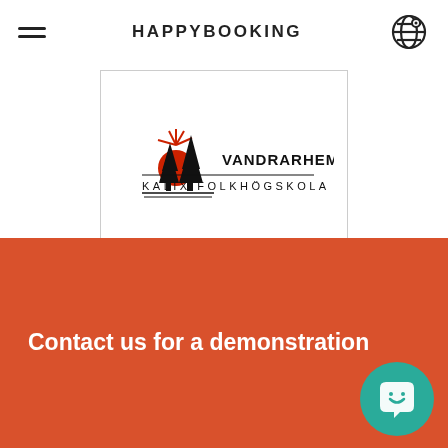HAPPYBOOKING
[Figure (logo): Vandrarhem Kalix Folkhögskola logo with pine trees and red sun graphic, text 'VANDRARHEM' and 'KALIX FOLKHÖGSKOLA']
Contact us for a demonstration